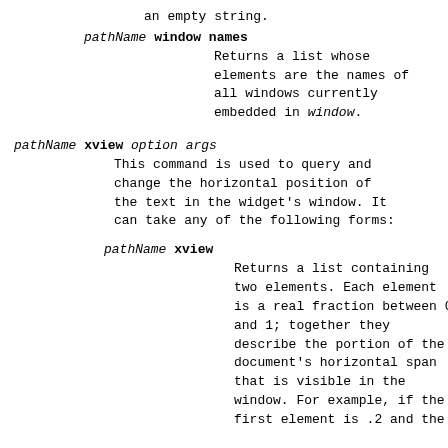an empty string.
pathName window names
    Returns a list whose elements are the names of all windows currently embedded in window.
pathName xview option args
    This command is used to query and change the horizontal position of the text in the widget's window. It can take any of the following forms:
pathName xview
    Returns a list containing two elements. Each element is a real fraction between 0 and 1; together they describe the portion of the document's horizontal span that is visible in the window. For example, if the first element is .2 and the